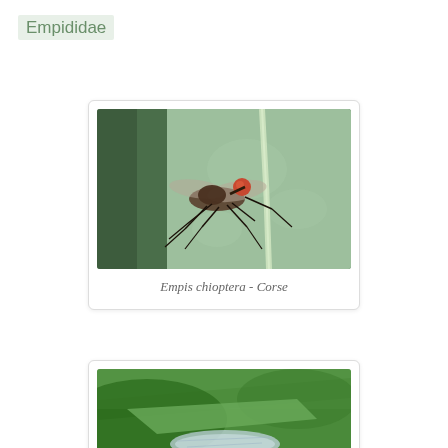Empididae
[Figure (photo): Close-up macro photograph of Empis chioptera (a dance fly) resting on a pale green leaf surface. The fly has translucent wings, dark legs, and an orange-red spherical head on a dark proboscis. The leaf shows a central pale vein.]
Empis chioptera - Corse
[Figure (photo): Partial view of a second insect photograph showing green foliage background with what appears to be another fly with visible wings, cropped at the bottom of the page.]